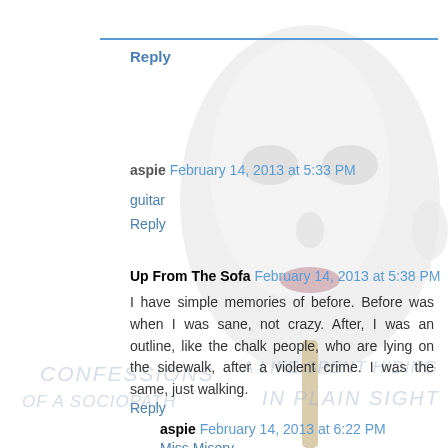[Figure (illustration): A white mannequin face/mask on a stick, centered on the page, serving as a background image behind the comment thread text.]
Reply
aspie  February 14, 2013 at 5:33 PM
guitar
Reply
Up From The Sofa  February 14, 2013 at 5:38 PM
I have simple memories of before. Before was when I was sane, not crazy. After, I was an outline, like the chalk people, who are lying on the sidewalk, after a violent crime. I was the same, just walking.
Reply
aspie  February 14, 2013 at 6:22 PM
Miss Misery
CONFESSIONS   A LIFE SPENT HIDING
OF A SOCIOPATH   IN PLAIN SIGHT